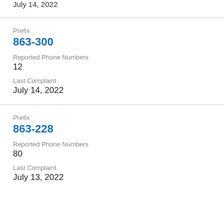July 14, 2022
Prefix
863-300
Reported Phone Numbers
12
Last Complaint
July 14, 2022
Prefix
863-228
Reported Phone Numbers
80
Last Complaint
July 13, 2022